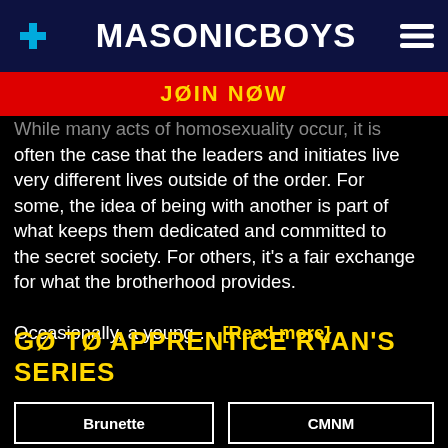MASONICBOYS
JOIN NOW
While many acts of homosexuality occur, it is often the case that the leaders and initiates live very different lives outside of the order. For some, the idea of being with another is part of what keeps them dedicated and committed to the secret society. For others, it's a fair exchange for what the brotherhood provides.

Occasionally, a young … [Read more]
GO TO APPRENTICE RYAN'S SERIES
Brunette
CMNM